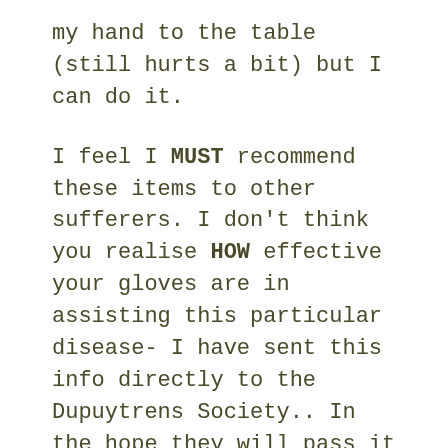my hand to the table (still hurts a bit) but I can do it.
I feel I MUST recommend these items to other sufferers. I don't think you realise HOW effective your gloves are in assisting this particular disease- I have sent this info directly to the Dupuytrens Society.. In the hope they will pass it on to fellow sufferers.. Now my friend with arthritis has her own pair of